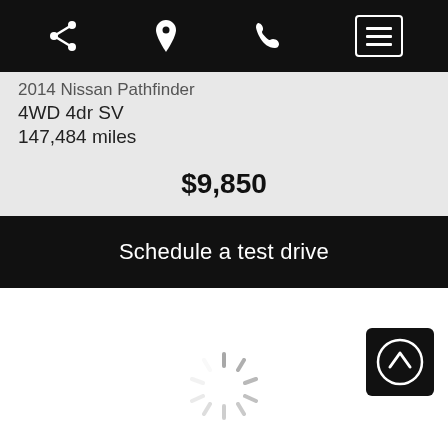Navigation bar with share, location, phone, and menu icons
4WD 4dr SV
147,484 miles
$9,850
Schedule a test drive
[Figure (other): Loading spinner (gray radial lines forming a circular spinner animation indicator)]
[Figure (other): Scroll-to-top button: black square with white upward arrow circle icon]